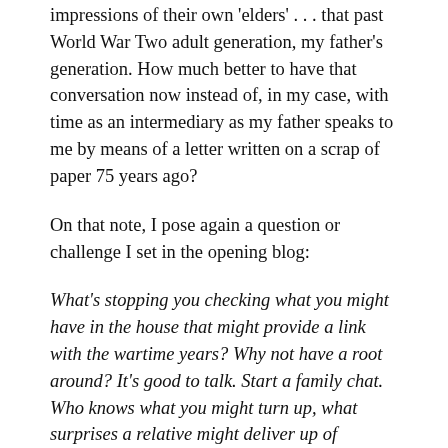impressions of their own 'elders' . . . that past World War Two adult generation, my father's generation. How much better to have that conversation now instead of, in my case, with time as an intermediary as my father speaks to me by means of a letter written on a scrap of paper 75 years ago?
On that note, I pose again a question or challenge I set in the opening blog:
What's stopping you checking what you might have in the house that might provide a link with the wartime years? Why not have a root around? It's good to talk. Start a family chat. Who knows what you might turn up, what surprises a relative might deliver up of childhood memories of the 1940s, or stories passed down to them by their own parents and elderly relatives? Perhaps saving them for posterity, either as an audio recording, video or as handwritten notes. It could be an